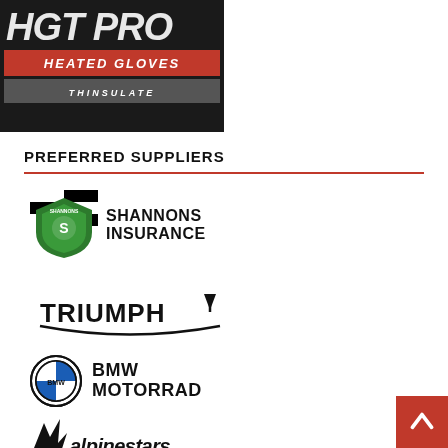[Figure (logo): HGT PRO Heated Gloves Thinsulate logo — dark background with large italic HGT PRO text, red bar with HEATED GLOVES, gray bar with THINSULATE]
PREFERRED SUPPLIERS
[Figure (logo): Shannons Insurance logo — checkered flag shield with green crest and SHANNONS INSURANCE text]
[Figure (logo): Triumph motorcycle logo — TRIUMPH with T badge and arc]
[Figure (logo): BMW Motorrad logo — BMW roundel circle with BMW MOTORRAD text]
[Figure (logo): Alpinestars logo — star with stylized wings and alpinestars italic text]
[Figure (other): Back to top button — red square with white upward chevron arrow]